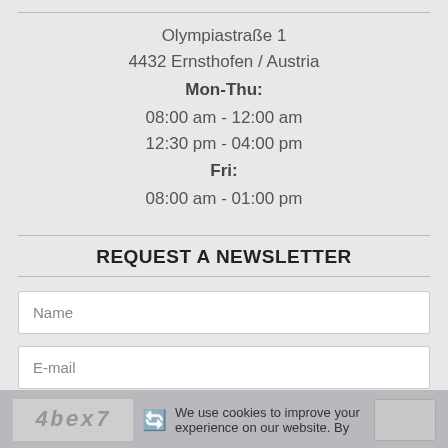Olympiastraße 1
4432 Ernsthofen / Austria
Mon-Thu:
08:00 am - 12:00 am
12:30 pm - 04:00 pm
Fri:
08:00 am - 01:00 pm
REQUEST A NEWSLETTER
Name
E-mail
We use cookies to improve your experience on our website. By